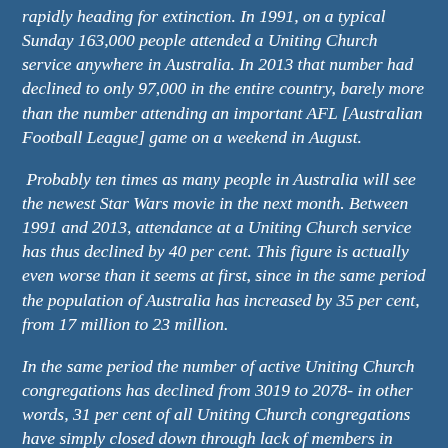rapidly heading for extinction. In 1991, on a typical Sunday 163,000 people attended a Uniting Church service anywhere in Australia. In 2013 that number had declined to only 97,000 in the entire country, barely more than the number attending an important AFL [Australian Football League] game on a weekend in August.
Probably ten times as many people in Australia will see the newest Star Wars movie in the next month. Between 1991 and 2013, attendance at a Uniting Church service has thus declined by 40 per cent. This figure is actually even worse than it seems at first, since in the same period the population of Australia has increased by 35 per cent, from 17 million to 23 million.
In the same period the number of active Uniting Church congregations has declined from 3019 to 2078- in other words, 31 per cent of all Uniting Church congregations have simply closed down through lack of members in only twenty-two years. According to the same survey, 26 per cent